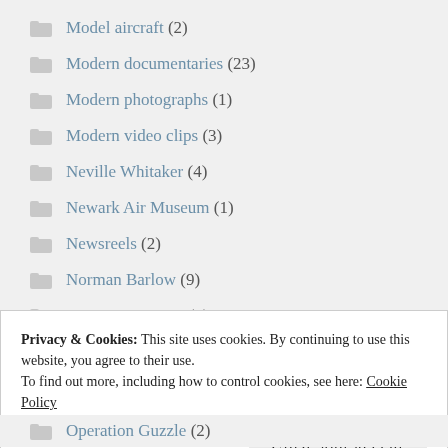Model aircraft (2)
Modern documentaries (23)
Modern photographs (1)
Modern video clips (3)
Neville Whitaker (4)
Newark Air Museum (1)
Newsreels (2)
Norman Barlow (9)
Norman Burrows (2)
Privacy & Cookies: This site uses cookies. By continuing to use this website, you agree to their use.
To find out more, including how to control cookies, see here: Cookie Policy
Close and accept
Operation Guzzle (2)